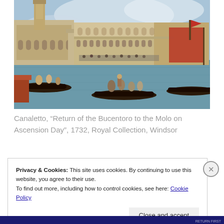[Figure (photo): Canaletto painting showing Venice harbor scene with gondolas, the Doge's Palace, the Campanile, and a red-flagged vessel, many figures on boats and along the waterfront.]
Canaletto, “Return of the Bucentoro to the Molo on Ascension Day”, 1732, Royal Collection, Windsor
Privacy & Cookies: This site uses cookies. By continuing to use this website, you agree to their use.
To find out more, including how to control cookies, see here: Cookie Policy
Close and accept